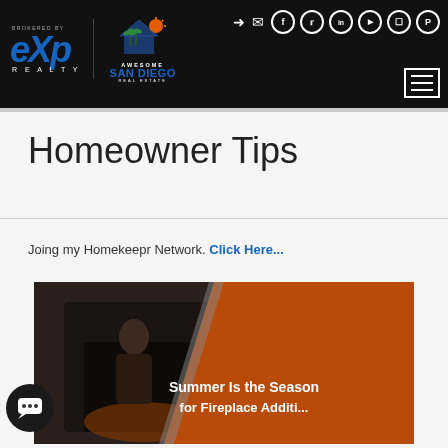[Figure (logo): Website header with eXp Realty and Awesome San Diego Real Estate logos, social media icons, and hamburger menu on black background]
Homeowner Tips
Joing my Homekeepr Network. Click Here...
[Figure (photo): Article thumbnail showing a fireplace scene with orange diagonal overlay and text 'Summer Is the Season for Fireplace Additi...']